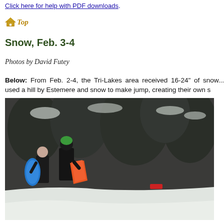Click here for help with PDF downloads.
Top
Snow, Feb. 3-4
Photos by David Futey
Below: From Feb. 2-4, the Tri-Lakes area received 16-24" of snow... used a hill by Estemere and snow to make jump, creating their own s...
[Figure (photo): Two children carrying sleds (one blue, one orange) standing on a snowy hill with snow-covered trees in the background.]